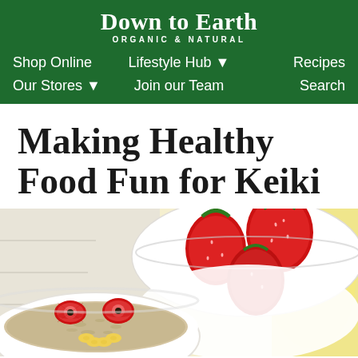Down to Earth ORGANIC & NATURAL
Shop Online | Lifestyle Hub ▾ | Recipes
Our Stores ▾ | Join our Team | Search
Making Healthy Food Fun for Keiki
[Figure (photo): A white bowl of oatmeal decorated with strawberry slices and banana slices to look like a face, with a larger bowl of fresh whole strawberries behind it, and a glass of yellow juice in the background, on a white wooden surface.]